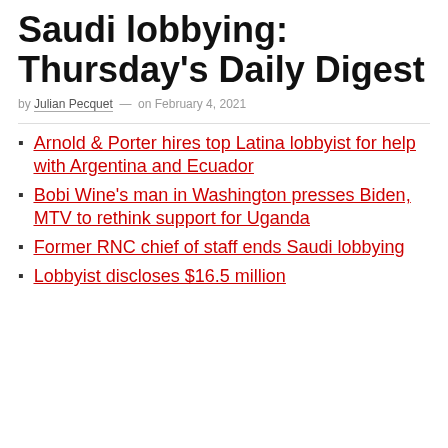Saudi lobbying: Thursday's Daily Digest
by Julian Pecquet — on February 4, 2021
Arnold & Porter hires top Latina lobbyist for help with Argentina and Ecuador
Bobi Wine's man in Washington presses Biden, MTV to rethink support for Uganda
Former RNC chief of staff ends Saudi lobbying
Lobbyist discloses $16.5 million